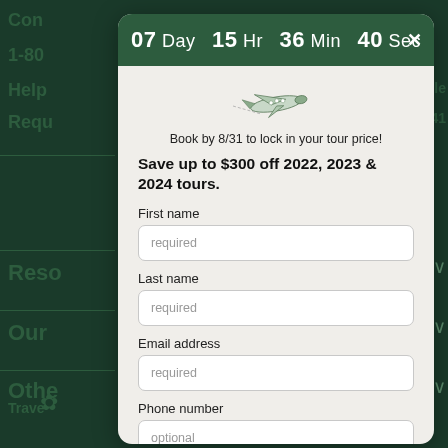[Figure (screenshot): Dark green website background with partial text visible: 'Con', '1-80', 'Help', 'Requ', 'Reso', 'Our', 'Othe', 'Trave', 'ircle', 'O2141' and a maple leaf icon]
[Figure (infographic): Modal popup dialog on a travel booking website. Contains a countdown timer showing 07 Day 15 Hr 36 Min 40 Sec in a dark green header bar with an X close button. Below is a small airplane illustration icon. Text reads 'Book by 8/31 to lock in your tour price!' and 'Save up to $300 off 2022, 2023 & 2024 tours.' followed by form fields for First name, Last name, Email address, and Phone number.]
07 Day  15 Hr  36 Min  40 Sec
Book by 8/31 to lock in your tour price!
Save up to $300 off 2022, 2023 & 2024 tours.
First name
Last name
Email address
Phone number